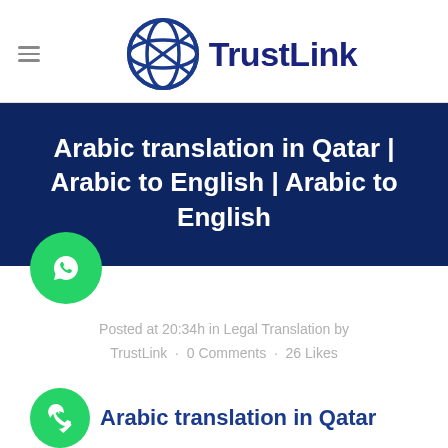[Figure (logo): TrustLink logo with blue diamond/globe icon and bold dark blue TrustLink text]
Arabic translation in Qatar | Arabic to English | Arabic to English
Posted at 20:34h in Legal Translation by TrustLink · 0 Comments · 26 Likes
Arabic translation in Qatar
For the most reliable Arabic translation